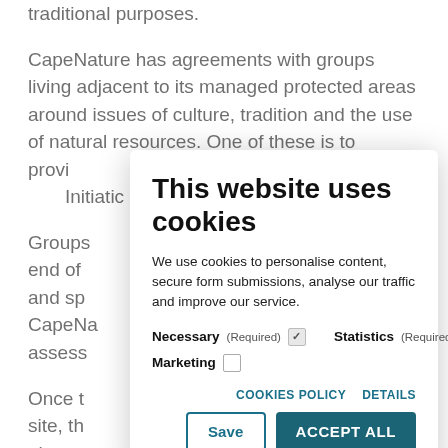traditional purposes.
CapeNature has agreements with groups living adjacent to its managed protected areas around issues of culture, tradition and the use of natural resources. One of these is to provi... Initiatic...
Groups... end of... and sp... CapeNa... assess...
Once th... site, the... observ... examp... areas),
water and firewood
[Figure (screenshot): Cookie consent modal dialog overlaying webpage content. Title: 'This website uses cookies'. Body: 'We use cookies to personalise content, secure form submissions, analyse our traffic and improve our service.' Options: Necessary (Required) [checked], Statistics (Required) [checked], Marketing [unchecked]. Links: COOKIES POLICY, DETAILS. Buttons: Save, ACCEPT ALL.]